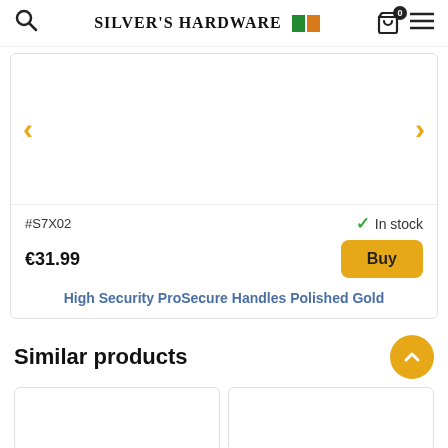Silver's Hardware
[Figure (photo): Product image area for High Security ProSecure Handles Polished Gold, with left and right navigation arrows]
#S7X02
✓ In stock
€31.99
Buy
High Security ProSecure Handles Polished Gold
Similar products
[Figure (photo): Similar product card 1 - image placeholder]
[Figure (photo): Similar product card 2 - image placeholder]